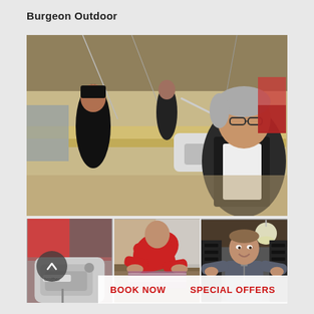Burgeon Outdoor
[Figure (photo): Woman with grey hair and glasses working at a sewing machine in a large workshop with multiple sewing stations and other workers in the background]
[Figure (photo): Close-up of an industrial sewing machine (Brother brand) with blurred background showing red clothing]
[Figure (photo): Person in red long-sleeve top bent over working on fabric on a table]
[Figure (photo): Smiling man in grey quarter-zip cycling jersey standing in a workshop with black equipment racks behind him and a pendant light above]
BOOK NOW   SPECIAL OFFERS